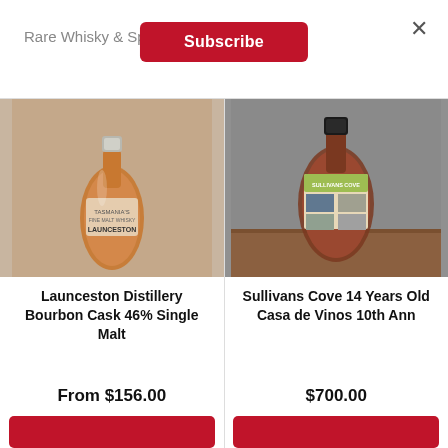Rare Whisky & Spirits
×
Subscribe
[Figure (photo): Bottle of Launceston Distillery Bourbon Cask 46% Single Malt whisky against a stone/concrete background]
Launceston Distillery Bourbon Cask 46% Single Malt
From $156.00
[Figure (photo): Bottle of Sullivans Cove 14 Years Old Casa de Vinos 10th Ann whisky on a wooden surface against a grey background]
Sullivans Cove 14 Years Old Casa de Vinos 10th Ann
$700.00